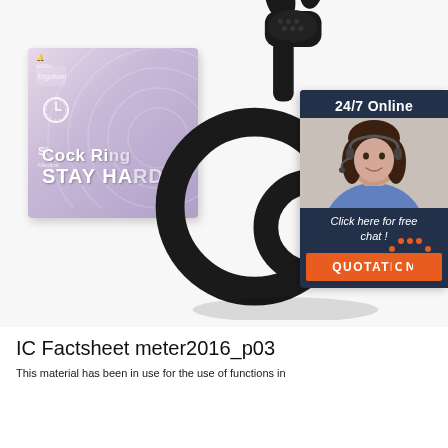[Figure (photo): Product image showing a black silicone device (cock ring with rabbit ears design) next to its packaging box (lavender/purple gradient with clock icon and text 'Cock Ring STAY HARD'), alongside a chat widget showing '24/7 Online', a female customer service agent, 'Click here for free chat!' text, and an orange 'QUOTATION' button. A 'TOP' badge with orange dots appears in the lower right of the image area.]
IC Factsheet meter2016_p03
This material has been in use for the use of functions in...